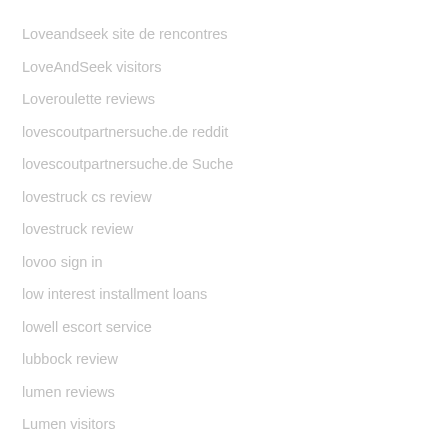Loveandseek site de rencontres
LoveAndSeek visitors
Loveroulette reviews
lovescoutpartnersuche.de reddit
lovescoutpartnersuche.de Suche
lovestruck cs review
lovestruck review
lovoo sign in
low interest installment loans
lowell escort service
lubbock review
lumen reviews
Lumen visitors
LumenApp review